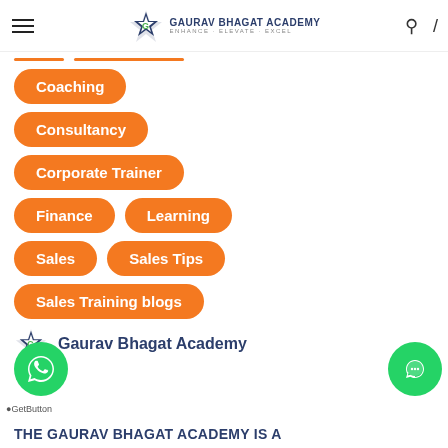Gaurav Bhagat Academy — ENHANCE · ELEVATE · EXCEL
Coaching
Consultancy
Corporate Trainer
Finance
Learning
Sales
Sales Tips
Sales Training blogs
Gaurav Bhagat Academy
THE GAURAV BHAGAT ACADEMY IS a